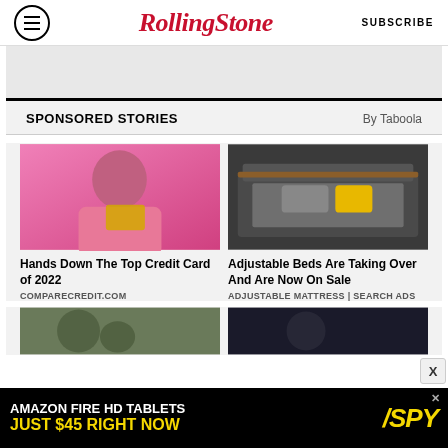Rolling Stone | SUBSCRIBE
SPONSORED STORIES By Taboola
[Figure (photo): Young woman with dark hair in orange striped top holding a yellow credit card against pink background]
Hands Down The Top Credit Card of 2022
COMPARECREDIT.COM
[Figure (photo): Modern dark grey adjustable bed with yellow pillow and wooden frame accents]
Adjustable Beds Are Taking Over And Are Now On Sale
ADJUSTABLE MATTRESS | SEARCH ADS
[Figure (photo): Partially visible bottom row images - two thumbnail photos]
[Figure (photo): Amazon Fire HD Tablets advertisement banner - JUST $45 RIGHT NOW - SPY]